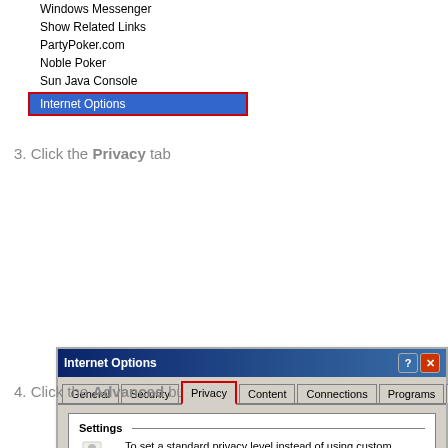Windows Messenger
Show Related Links
PartyPoker.com
Noble Poker
Sun Java Console
Internet Options
3. Click the Privacy tab
[Figure (screenshot): Internet Options dialog box open to the Privacy tab. Tabs shown: General, Security, Privacy (active, highlighted with red border), Content, Connections, Programs, Advanced. Settings section shows privacy icon, text about setting standard privacy level, Custom setting label, and '- Advanced or imported settings' text.]
4. Click the Advanced button
[Figure (screenshot): Internet Options dialog box title bar only visible at bottom of page.]